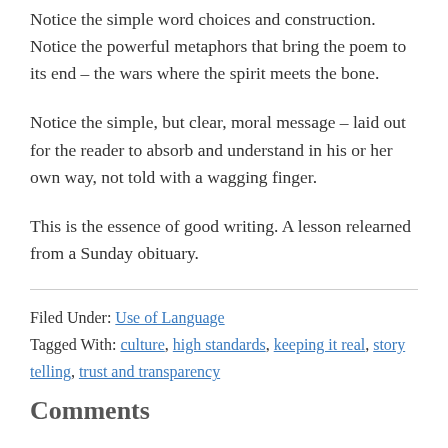Notice the simple word choices and construction. Notice the powerful metaphors that bring the poem to its end – the wars where the spirit meets the bone.
Notice the simple, but clear, moral message – laid out for the reader to absorb and understand in his or her own way, not told with a wagging finger.
This is the essence of good writing. A lesson relearned from a Sunday obituary.
Filed Under: Use of Language
Tagged With: culture, high standards, keeping it real, story telling, trust and transparency
Comments